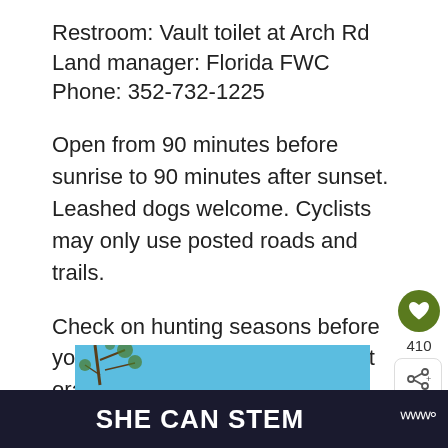Restroom: Vault toilet at Arch Rd
Land manager: Florida FWC
Phone: 352-732-1225
Open from 90 minutes before sunrise to 90 minutes after sunset. Leashed dogs welcome. Cyclists may only use posted roads and trails.
Check on hunting seasons before you visit. You need to wear bright orange if visiting here during scheduled hunts.
[Figure (photo): Banner image for Salt Lake WMA with sky blue background, tree branches visible at top, and cursive text reading 'Salt Lake WMA']
SHE CAN STEM